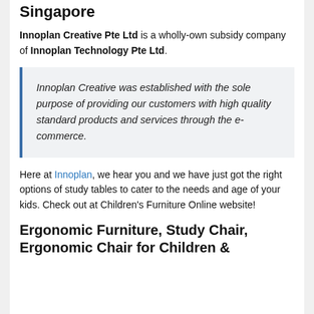Furniture & Buy Children's Desk Singapore
Innoplan Creative Pte Ltd is a wholly-own subsidy company of Innoplan Technology Pte Ltd.
Innoplan Creative was established with the sole purpose of providing our customers with high quality standard products and services through the e-commerce.
Here at Innoplan, we hear you and we have just got the right options of study tables to cater to the needs and age of your kids. Check out at Children's Furniture Online website!
Ergonomic Furniture, Study Chair, Ergonomic Chair for Children &